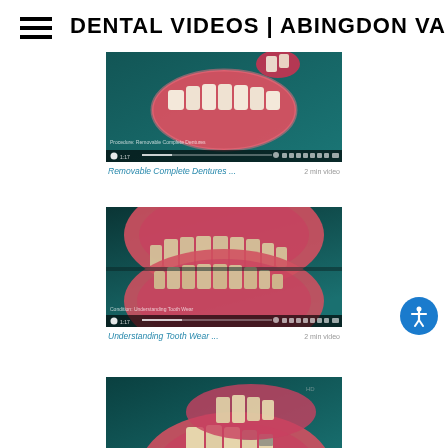DENTAL VIDEOS | ABINGDON VA
[Figure (screenshot): Dental video thumbnail showing a 3D animation of removable complete dentures on a teal background. Video title: Removable Complete Dentures ...]
Removable Complete Dentures ...
[Figure (screenshot): Dental video thumbnail showing a 3D animation of open mouth with worn teeth demonstrating tooth wear condition on a teal background. Video title: Understanding Tooth Wear ...]
Understanding Tooth Wear ...
[Figure (screenshot): Dental video thumbnail showing a 3D animation of teeth and gums from a side view with dental work visible on a teal background.]